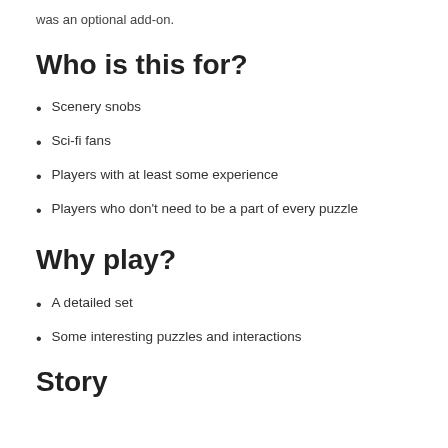was an optional add-on.
Who is this for?
Scenery snobs
Sci-fi fans
Players with at least some experience
Players who don't need to be a part of every puzzle
Why play?
A detailed set
Some interesting puzzles and interactions
Story